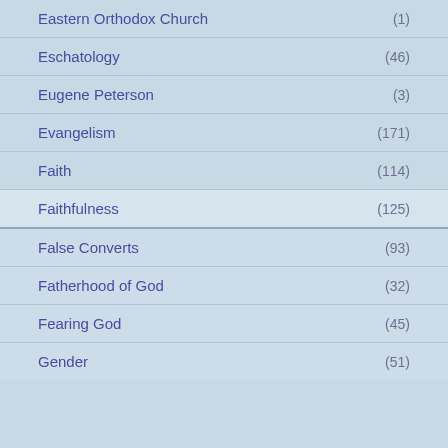Eastern Orthodox Church (1)
Eschatology (46)
Eugene Peterson (3)
Evangelism (171)
Faith (114)
Faithfulness (125)
False Converts (93)
Fatherhood of God (32)
Fearing God (45)
Gender (51)